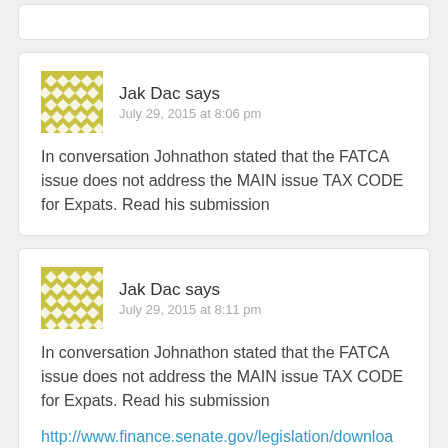Jak Dac says
July 29, 2015 at 8:06 pm
In conversation Johnathon stated that the FATCA issue does not address the MAIN issue TAX CODE for Expats. Read his submission
Jak Dac says
July 29, 2015 at 8:11 pm
In conversation Johnathon stated that the FATCA issue does not address the MAIN issue TAX CODE for Expats. Read his submission
http://www.finance.senate.gov/legislation/download/?id=2df2d34f-24ec-4986-b4ee-4b3af065a305